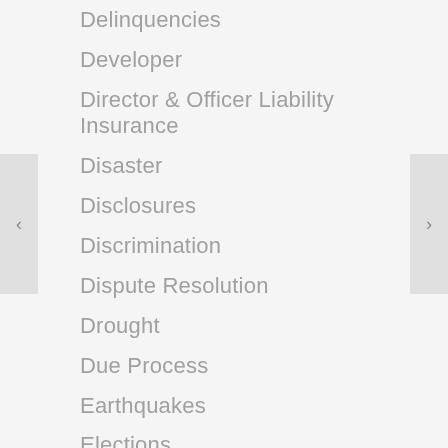Delinquencies
Developer
Director & Officer Liability Insurance
Disaster
Disclosures
Discrimination
Dispute Resolution
Drought
Due Process
Earthquakes
Elections
Electric Charging Stations
Email notice
Emergency Assessments
Enforcement
Exclusive Use Common Area
Executive Session